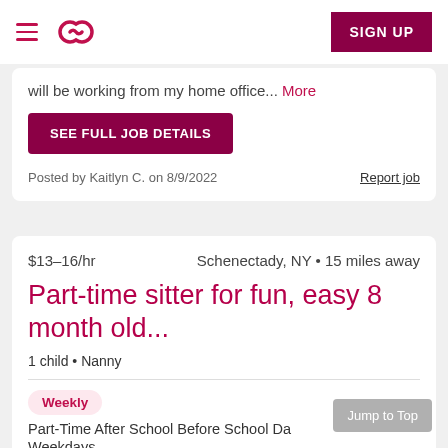navigation bar with hamburger menu, Sittercity logo, and SIGN UP button
will be working from my home office... More
SEE FULL JOB DETAILS
Posted by Kaitlyn C. on 8/9/2022
Report job
$13–16/hr    Schenectady, NY • 15 miles away
Part-time sitter for fun, easy 8 month old...
1 child • Nanny
Weekly
Part-Time After School Before School Da
Weekdays
Jump to Top